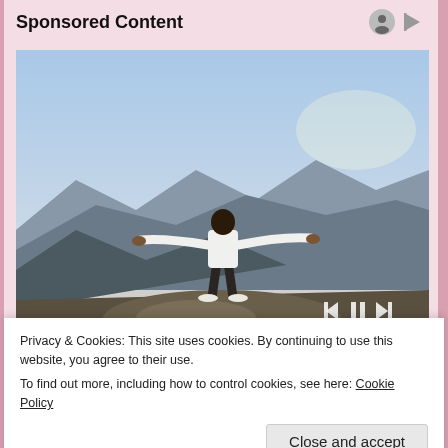Sponsored Content
[Figure (photo): Person standing on a hilltop with arms outstretched, facing away from camera, overlooking a mountain landscape at dusk/dawn. Video player controls (rewind, pause, fast-forward) visible in lower right. Progress bar visible at bottom of image. Caption bar at bottom reads: See What Personalised Content We Have]
See What Personalised Content We Have
Privacy & Cookies: This site uses cookies. By continuing to use this website, you agree to their use.
To find out more, including how to control cookies, see here: Cookie Policy
Close and accept